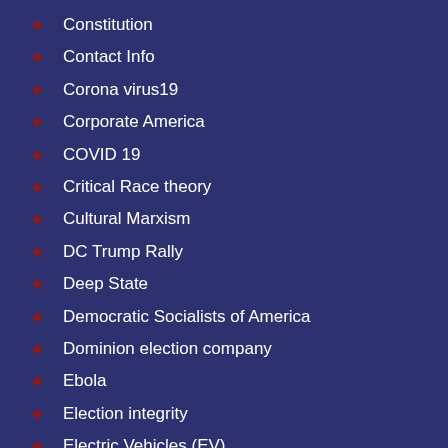Constitution
Contact Info
Corona virus19
Corporate America
COVID 19
Critical Race theory
Cultural Marxism
DC Trump Rally
Deep State
Democratic Socialists of America
Dominion election company
Ebola
Election integrity
Electric Vehicles (EV)
Europe / Islam
Fema Camps in USA
Fighting the Left
Gender and LGBTQ